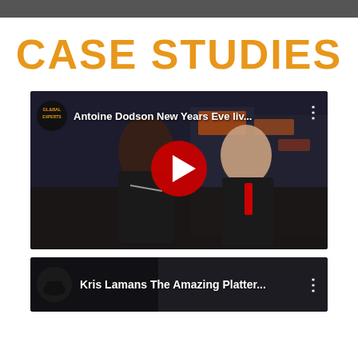CASE STUDIES
[Figure (screenshot): YouTube video thumbnail showing Antoine Dodson New Years Eve live broadcast with two people standing in Times Square, with a red play button overlay. Video title: 'Antoine Dodson New Years Eve liv...' with Global Experts logo.]
[Figure (screenshot): YouTube video thumbnail showing 'Kris Lamans The Amazing Platter...' with avatar/profile image on left and video title text.]